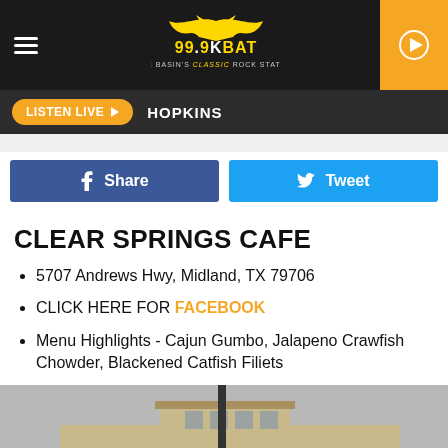99.9 KBAT – The Basin's Classic Rock Station
LISTEN LIVE ▶  HOPKINS
[Figure (screenshot): Facebook Share button and Twitter Tweet button]
CLEAR SPRINGS CAFE
5707 Andrews Hwy, Midland, TX 79706
CLICK HERE FOR FACEBOOK
Menu Highlights - Cajun Gumbo, Jalapeno Crawfish Chowder, Blackened Catfish Filiets
[Figure (photo): Exterior photo of Clear Springs Cafe building, tan brick facade with signage, overcast sky]